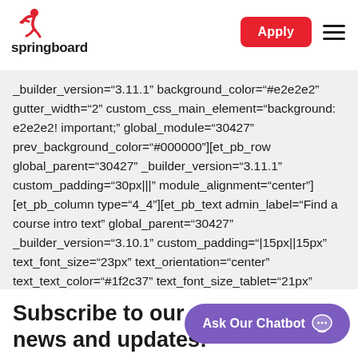springboard | Apply
_builder_version="3.11.1" background_color="#e2e2e2" gutter_width="2" custom_css_main_element="background: e2e2e2! important;" global_module="30427" prev_background_color="#000000"][et_pb_row global_parent="30427" _builder_version="3.11.1" custom_padding="30px|||" module_alignment="center"][et_pb_column type="4_4"][et_pb_text admin_label="Find a course intro text" global_parent="30427" _builder_version="3.10.1" custom_padding="|15px||15px" text_font_size="23px" text_orientation="center" text_text_color="#1f2c37" text_font_size_tablet="21px" text_font_size_phone="16px" text_font_size_last_edited="on|phone"]
Subscribe to our news and updates: